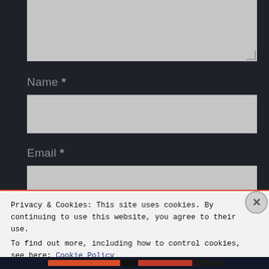[Figure (screenshot): Dark-themed web form with a textarea at top (grey, partially visible), followed by 'Name *' label and grey input field, then 'Email *' label and grey input field, then partially visible 'Website' label. A cookie consent banner overlays the lower portion with text about cookies and a 'Close and accept' button. An X close button appears at the right edge of the banner. A colored bottom bar is visible at the very bottom.]
Name *
Email *
Website
Privacy & Cookies: This site uses cookies. By continuing to use this website, you agree to their use.
To find out more, including how to control cookies, see here: Cookie Policy
Close and accept